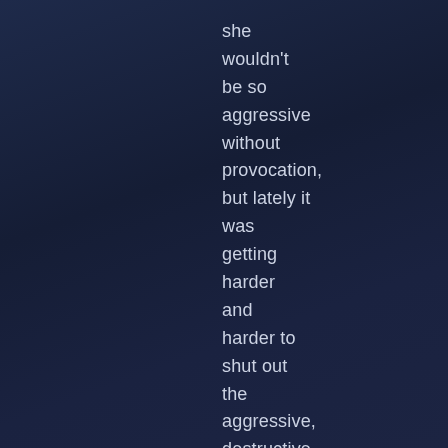she wouldn't be so aggressive without provocation, but lately it was getting harder and harder to shut out the aggressive, destructive side of her personality matrix.

It was that